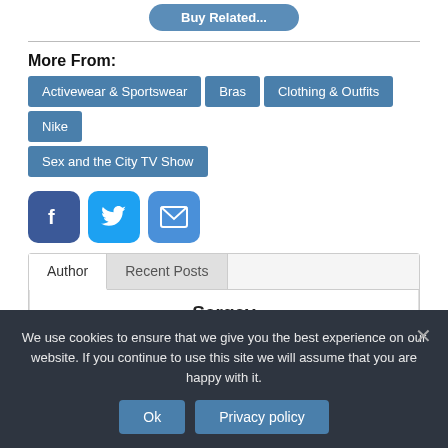[Figure (other): Blue rounded button partially visible at top with text]
More From:
Activewear & Sportswear
Bras
Clothing & Outfits
Nike
Sex and the City TV Show
[Figure (other): Social media share icons: Facebook, Twitter, Email]
Author | Recent Posts
Sergey
We use cookies to ensure that we give you the best experience on our website. If you continue to use this site we will assume that you are happy with it.
Ok | Privacy policy